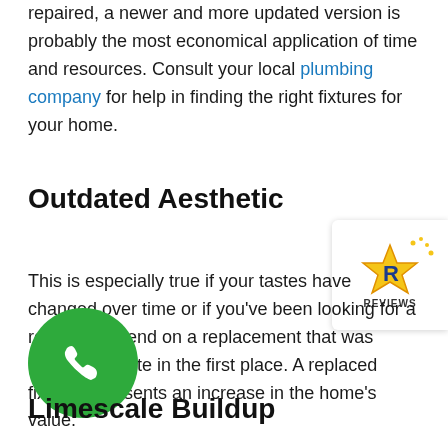repaired, a newer and more updated version is probably the most economical application of time and resources. Consult your local plumbing company for help in finding the right fixtures for your home.
Outdated Aesthetic
[Figure (logo): Reviews badge with star icon and 'REVIEWS' text]
This is especially true if your tastes have changed over time or if you've been looking for a reason to spend on a replacement that was never a favorite in the first place. A replaced fixture represents an increase in the home's value.
[Figure (illustration): Green circular phone/call button icon]
Limescale Buildup